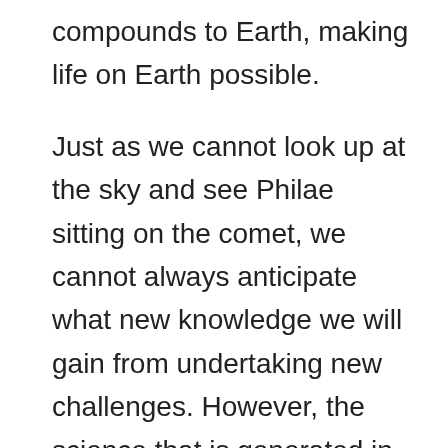compounds to Earth, making life on Earth possible.
Just as we cannot look up at the sky and see Philae sitting on the comet, we cannot always anticipate what new knowledge we will gain from undertaking new challenges. However, the science that is generated in getting something the size of a refrigerator to land on a piece of rock moving through space at 135,000 kilometers per hour will change our lives, either by informing us of the origins of life on Earth or letting us stream our favorite TV show.